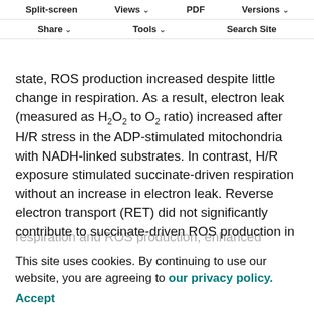Split-screen | Views | PDF | Versions | Share | Tools | Search Site
state, ROS production increased despite little change in respiration. As a result, electron leak (measured as H₂O₂ to O₂ ratio) increased after H/R stress in the ADP-stimulated mitochondria with NADH-linked substrates. In contrast, H/R exposure stimulated succinate-driven respiration without an increase in electron leak. Reverse electron transport (RET) did not significantly contribute to succinate-driven ROS production in oyster mitochondria except for a slight increase in the OXPHOS state during post-hypoxic recovery. A decrease in NADH-driven
respiration and ROS production, enhanced capacity for succinate oxidation and resistance to RET might assist in post-hypoxic recovery of oysters mitigating oxidative stress and supporting rapid ATP re-synthesis during
This site uses cookies. By continuing to use our website, you are agreeing to our privacy policy. Accept